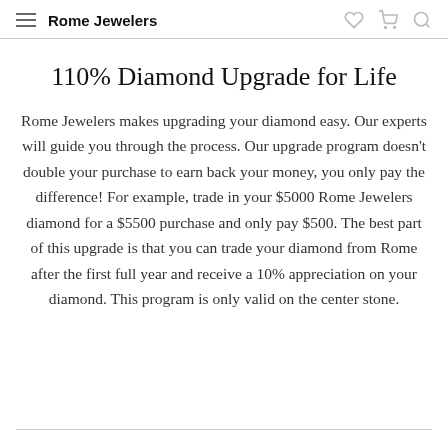Rome Jewelers
110% Diamond Upgrade for Life
Rome Jewelers makes upgrading your diamond easy. Our experts will guide you through the process. Our upgrade program doesn't double your purchase to earn back your money, you only pay the difference! For example, trade in your $5000 Rome Jewelers diamond for a $5500 purchase and only pay $500. The best part of this upgrade is that you can trade your diamond from Rome after the first full year and receive a 10% appreciation on your diamond. This program is only valid on the center stone.